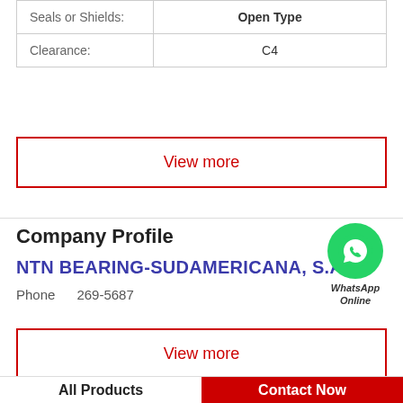| Seals or Shields: | Open Type |
| Clearance: | C4 |
View more
Company Profile
NTN BEARING-SUDAMERICANA, S.A.
Phone   269-5687
[Figure (illustration): WhatsApp Online green circle icon with phone handset, labeled WhatsApp Online]
View more
All Products   Contact Now